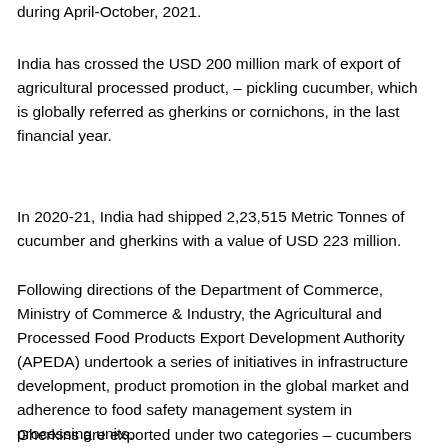during April-October, 2021.
India has crossed the USD 200 million mark of export of agricultural processed product, – pickling cucumber, which is globally referred as gherkins or cornichons, in the last financial year.
In 2020-21, India had shipped 2,23,515 Metric Tonnes of cucumber and gherkins with a value of USD 223 million.
Following directions of the Department of Commerce, Ministry of Commerce & Industry, the Agricultural and Processed Food Products Export Development Authority (APEDA) undertook a series of initiatives in infrastructure development, product promotion in the global market and adherence to food safety management system in processing units.
Gherkins are exported under two categories – cucumbers and